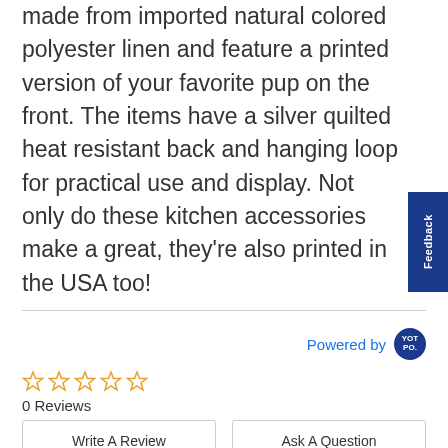made from imported natural colored polyester linen and feature a printed version of your favorite pup on the front. The items have a silver quilted heat resistant back and hanging loop for practical use and display. Not only do these kitchen accessories make a great, they're also printed in the USA too!
Powered by
[Figure (logo): Yotpo circular badge logo in dark blue with white text 'YOT PO.']
[Figure (other): Five empty star rating icons in orange outline]
0 Reviews
Write A Review
Ask A Question